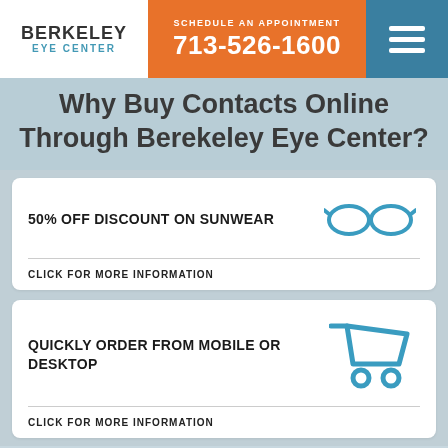BERKELEY EYE CENTER | SCHEDULE AN APPOINTMENT 713-526-1600
Why Buy Contacts Online Through Berekeley Eye Center?
50% OFF DISCOUNT ON SUNWEAR
CLICK FOR MORE INFORMATION
QUICKLY ORDER FROM MOBILE OR DESKTOP
CLICK FOR MORE INFORMATION